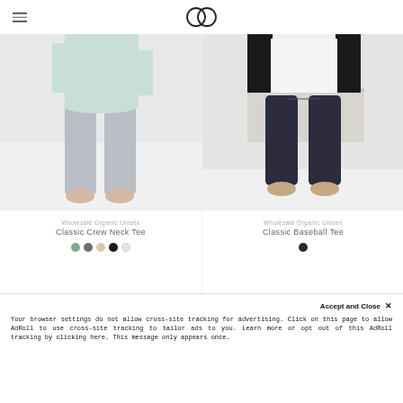CC (logo)
[Figure (photo): Child wearing light mint tee and gray leggings, standing on white fur rug, lower body view]
Wholesale Organic Unisex
Classic Crew Neck Tee
[Figure (photo): Child wearing white and black baseball tee with dark navy jogger pants, standing on white fur rug, lower body view]
Wholesale Organic Unisex
Classic Baseball Tee
Your browser settings do not allow cross-site tracking for advertising. Click on this page to allow AdRoll to use cross-site tracking to tailor ads to you. Learn more or opt out of this AdRoll tracking by clicking here. This message only appears once.